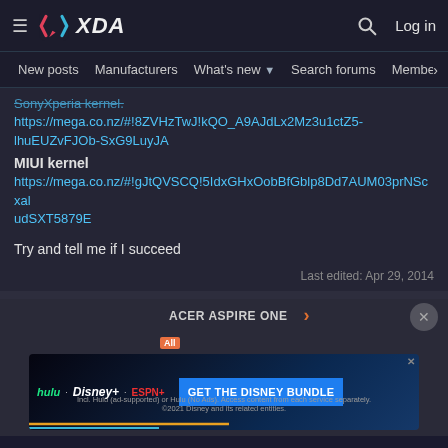XDA Developers - New posts | Manufacturers | What's new | Search forums | Members
SonyXperia kernel.
https://mega.co.nz/#!8ZVHzTwJ!kQO_A9AJdLx2Mz3u1ctZ5-lhuEUZvFJOb-SxG9LuyJA
MIUI kernel
https://mega.co.nz/#!gJtQVSCQ!5IdxGHxOobBfGblp8Dd7AUM03prNScxaludSXT5879E

Try and tell me if I succeed
Last edited: Apr 29, 2014
ACER ASPIRE ONE
[Figure (screenshot): Disney Bundle advertisement banner with Hulu, Disney+, ESPN+ logos and GET THE DISNEY BUNDLE call to action]